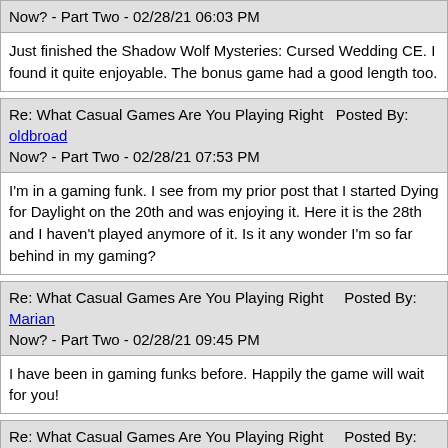Now? - Part Two - 02/28/21 06:03 PM
Just finished the Shadow Wolf Mysteries: Cursed Wedding CE. I found it quite enjoyable. The bonus game had a good length too.
Re: What Casual Games Are You Playing Right  Posted By: oldbroad Now? - Part Two - 02/28/21 07:53 PM
I'm in a gaming funk. I see from my prior post that I started Dying for Daylight on the 20th and was enjoying it. Here it is the 28th and I haven't played anymore of it. Is it any wonder I'm so far behind in my gaming?
Re: What Casual Games Are You Playing Right     Posted By: Marian Now? - Part Two - 02/28/21 09:45 PM
I have been in gaming funks before. Happily the game will wait for you!
Re: What Casual Games Are You Playing Right     Posted By: Reenie Now? - Part Two - 03/03/21 06:46 AM
I just loaded the 2006 game, Safecracker. This is one of my favorite games of all, being totally about solving puzzles and not much else. And they are delightfully pesky, too, so just my cuppa.
I have to say, though, that it was a real challenge to get it running...